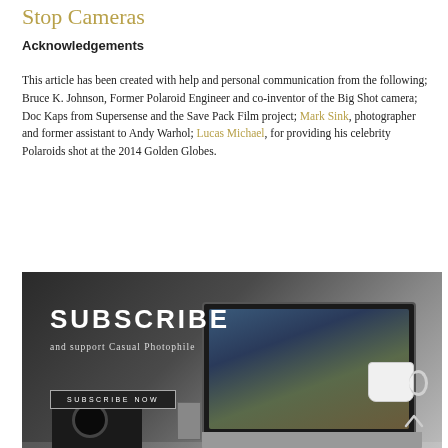Stop Cameras
Acknowledgements
This article has been created with help and personal communication from the following; Bruce K. Johnson, Former Polaroid Engineer and co-inventor of the Big Shot camera; Doc Kaps from Supersense and the Save Pack Film project; Mark Sink, photographer and former assistant to Andy Warhol; Lucas Michael, for providing his celebrity Polaroids shot at the 2014 Golden Globes.
[Figure (photo): Black and white photo of a desk with a laptop, camera, and coffee cup. Overlaid with white text SUBSCRIBE and subtext 'and support Casual Photophile' and a SUBSCRIBE NOW button.]